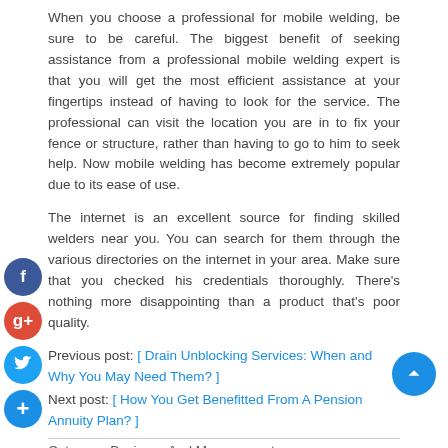When you choose a professional for mobile welding, be sure to be careful. The biggest benefit of seeking assistance from a professional mobile welding expert is that you will get the most efficient assistance at your fingertips instead of having to look for the service. The professional can visit the location you are in to fix your fence or structure, rather than having to go to him to seek help. Now mobile welding has become extremely popular due to its ease of use.
The internet is an excellent source for finding skilled welders near you. You can search for them through the various directories on the internet in your area. Make sure that you checked his credentials thoroughly. There's nothing more disappointing than a product that's poor quality.
Previous post: [ Drain Unblocking Services: When and Why You May Need Them? ] Next post: [ How You Get Benefitted From A Pension Annuity Plan? ]
Category: Business And Management